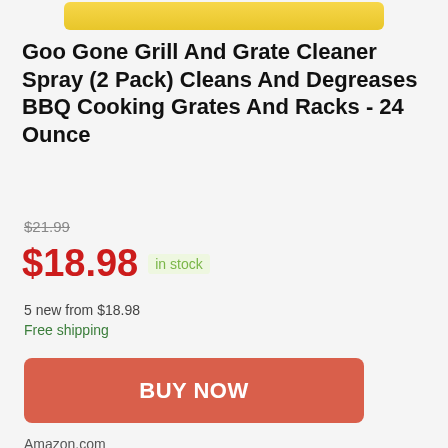[Figure (other): Yellow product image bar at top of page (partial product image cropped)]
Goo Gone Grill And Grate Cleaner Spray (2 Pack) Cleans And Degreases BBQ Cooking Grates And Racks - 24 Ounce
$21.99
$18.98 in stock
5 new from $18.98
Free shipping
BUY NOW
Amazon.com
as of August 22, 2022 4:44 am ⓘ